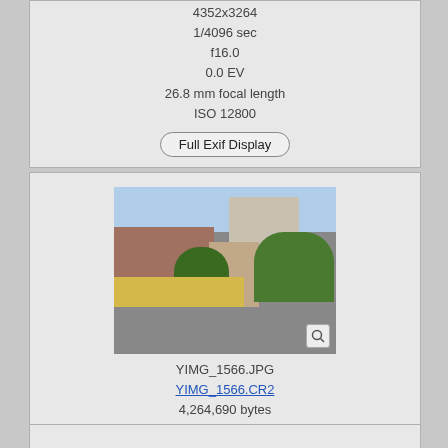4352x3264
1/4096 sec
f16.0
0.0 EV
26.8 mm focal length
ISO 12800
Full Exif Display
[Figure (photo): Street scene with brick buildings, tall office building in background, trees, and storefronts. Zoom icon in lower right corner.]
YIMG_1566.JPG
YIMG_1566.CR2
4,264,690 bytes
4352x3264
1/162 sec
f5.6
0.0 EV
23.3 mm focal length
ISO 100
Full Exif Display